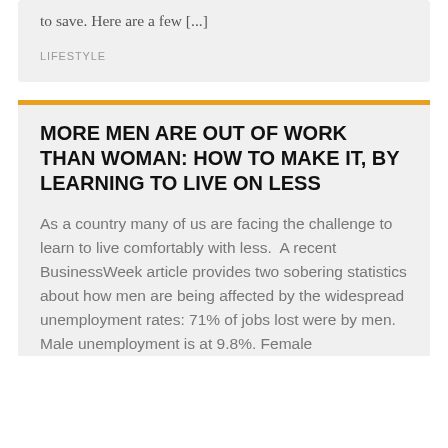to save. Here are a few [...]
LIFESTYLE
MORE MEN ARE OUT OF WORK THAN WOMAN: HOW TO MAKE IT, BY LEARNING TO LIVE ON LESS
As a country many of us are facing the challenge to learn to live comfortably with less.  A recent BusinessWeek article provides two sobering statistics about how men are being affected by the widespread unemployment rates: 71% of jobs lost were by men. Male unemployment is at 9.8%. Female